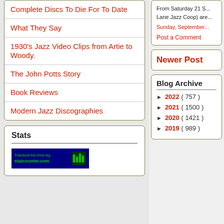Complete Discs To Die For To Date
What They Say
1930's Jazz Video Clips from Artie to Woody.
The John Potts Story
Book Reviews
Modern Jazz Discographies
Stats
[Figure (logo): StatCounter tracking badge - green on dark blue background reading 'Tracked for free by statcounter.com']
From Saturday 21 S... Lane Jazz Coop) are...
Sunday, September...
Post a Comment
Newer Post
Blog Archive
► 2022 ( 757 )
► 2021 ( 1500 )
► 2020 ( 1421 )
► 2019 ( 989 )